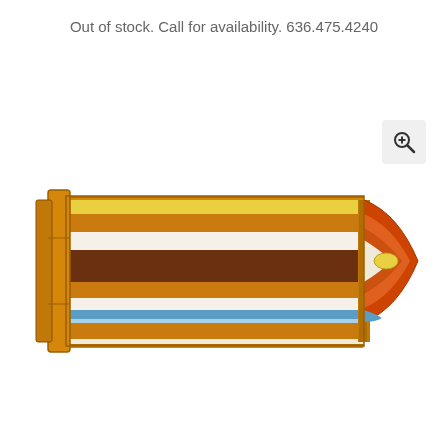Out of stock. Call for availability. 636.475.4240
[Figure (illustration): Cross-section illustration of a rifle cartridge/bullet showing multiple colored internal layers: orange casing, yellow stripe near top, dark brown powder charge layer in the middle, blue and white stripes near bottom, with an orange and red bullet tip on the right side showing a yellow hollow point cavity.]